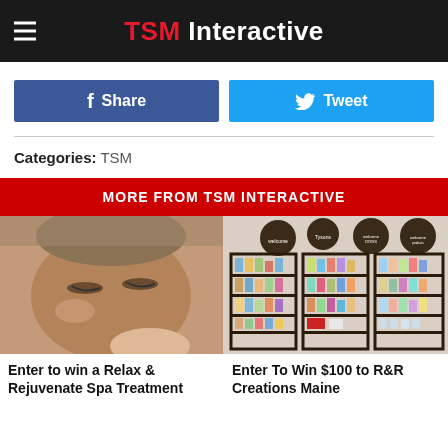TSM Interactive
Share | Tweet
Categories: TSM
MORE FROM TSM INTERACTIVE
[Figure (photo): Person receiving a facial spa treatment, lying down with eyes closed]
[Figure (photo): Retail store shelves stocked with various beauty and wellness products, with decorative signs on the wall]
Enter to win a Relax & Rejuvenate Spa Treatment
Enter To Win $100 to R&R Creations Maine